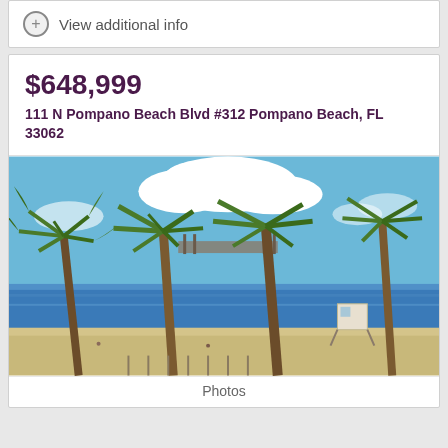View additional info
$648,999
111 N Pompano Beach Blvd #312 Pompano Beach, FL 33062
[Figure (photo): Beach scene with palm trees, blue ocean water, sandy beach, a lifeguard tower, and partly cloudy blue sky. Multiple tall palm trees are visible in the foreground with the Atlantic ocean in the background.]
Photos